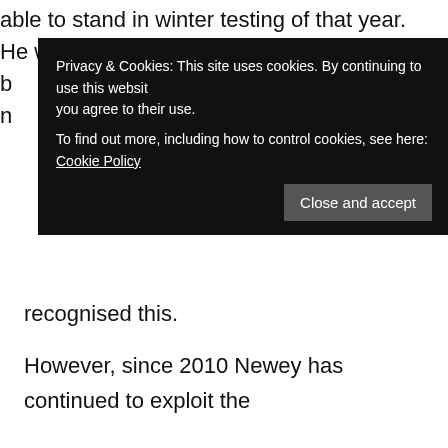able to stand in winter testing of that year. He was b… n… recognised this.
[Figure (screenshot): Cookie consent banner with dark background. Text: 'Privacy & Cookies: This site uses cookies. By continuing to use this website you agree to their use. To find out more, including how to control cookies, see here: Cookie Policy'. Button: 'Close and accept']
However, since 2010 Newey has continued to exploit the aerodynamics of the car to deliver downforce to the diffuser and this has lead to Vettel's emerging dominance. The cars Newey has been delivering require a counter intuitive driving style that means when the back end is sliding, you plant the throttle rather than easing off as normal. Vettel has mastered this art more